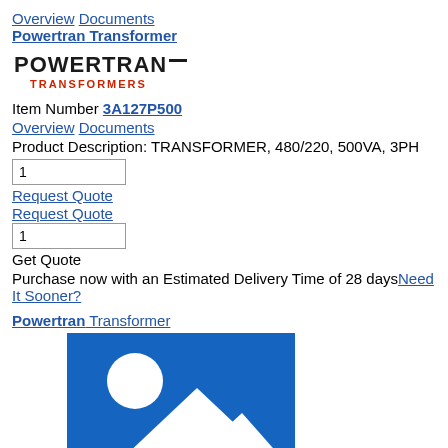Overview  Documents  Powertran Transformer
[Figure (logo): Powertran Transformers logo in black and red text]
Item Number 3A127P500
Overview  Documents
Product Description: TRANSFORMER, 480/220, 500VA, 3PH
1 (quantity input box)
Request Quote
Request Quote
1 (quantity input box)
Get Quote
Purchase now with an Estimated Delivery Time of 28 days Need It Sooner?
Powertran Transformer
[Figure (photo): Blue placeholder image with white mountain and circle silhouette]